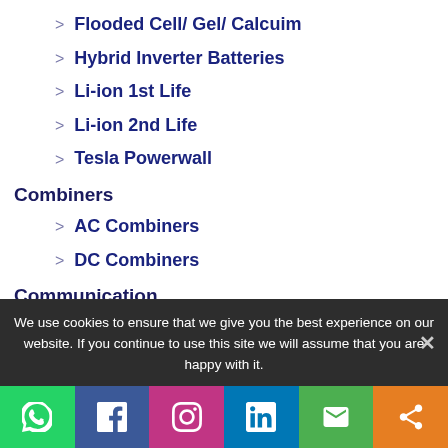Flooded Cell/ Gel/ Calcuim
Hybrid Inverter Batteries
Li-ion 1st Life
Li-ion 2nd Life
Tesla Powerwall
Combiners
AC Combiners
DC Combiners
Communication
DC Equipment
We use cookies to ensure that we give you the best experience on our website. If you continue to use this site we will assume that you are happy with it.
[Figure (infographic): Social media sharing bar with WhatsApp, Facebook, Instagram, LinkedIn, Email, and Share buttons]